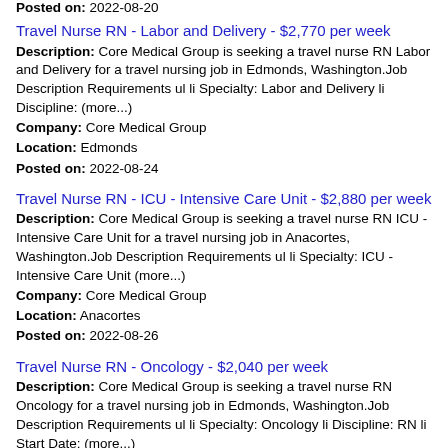Posted on: 2022-08-20
Travel Nurse RN - Labor and Delivery - $2,770 per week
Description: Core Medical Group is seeking a travel nurse RN Labor and Delivery for a travel nursing job in Edmonds, Washington.Job Description Requirements ul li Specialty: Labor and Delivery li Discipline: (more...)
Company: Core Medical Group
Location: Edmonds
Posted on: 2022-08-24
Travel Nurse RN - ICU - Intensive Care Unit - $2,880 per week
Description: Core Medical Group is seeking a travel nurse RN ICU - Intensive Care Unit for a travel nursing job in Anacortes, Washington.Job Description Requirements ul li Specialty: ICU - Intensive Care Unit (more...)
Company: Core Medical Group
Location: Anacortes
Posted on: 2022-08-26
Travel Nurse RN - Oncology - $2,040 per week
Description: Core Medical Group is seeking a travel nurse RN Oncology for a travel nursing job in Edmonds, Washington.Job Description Requirements ul li Specialty: Oncology li Discipline: RN li Start Date: (more...)
Company: Core Medical Group
Location: Edmonds